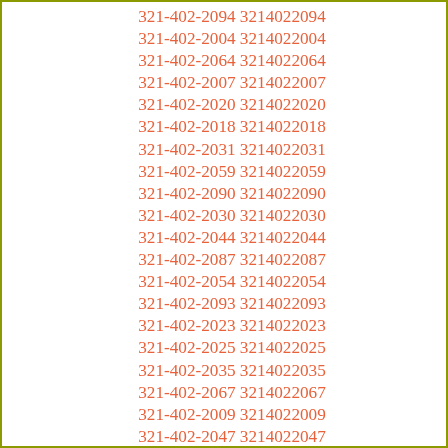321-402-2094 3214022094
321-402-2004 3214022004
321-402-2064 3214022064
321-402-2007 3214022007
321-402-2020 3214022020
321-402-2018 3214022018
321-402-2031 3214022031
321-402-2059 3214022059
321-402-2090 3214022090
321-402-2030 3214022030
321-402-2044 3214022044
321-402-2087 3214022087
321-402-2054 3214022054
321-402-2093 3214022093
321-402-2023 3214022023
321-402-2025 3214022025
321-402-2035 3214022035
321-402-2067 3214022067
321-402-2009 3214022009
321-402-2047 3214022047